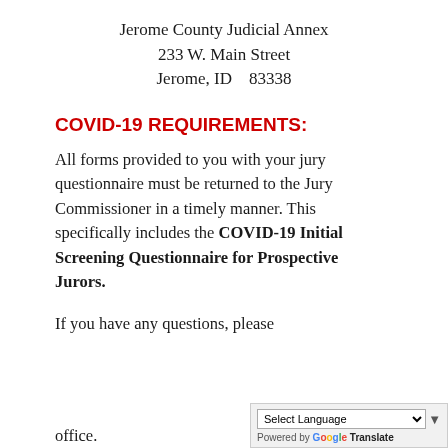Jerome County Judicial Annex
233 W. Main Street
Jerome, ID   83338
COVID-19 REQUIREMENTS:
All forms provided to you with your jury questionnaire must be returned to the Jury Commissioner in a timely manner. This specifically includes the COVID-19 Initial Screening Questionnaire for Prospective Jurors.
If you have any questions, please contact this office.